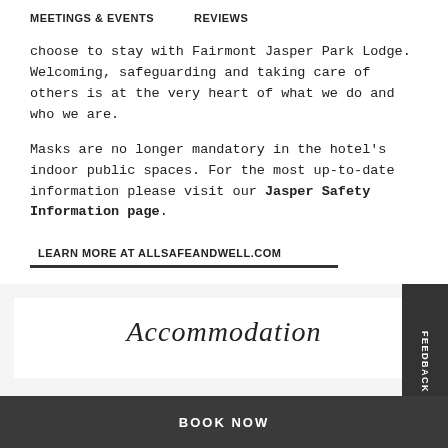MEETINGS & EVENTS    REVIEWS
choose to stay with Fairmont Jasper Park Lodge. Welcoming, safeguarding and taking care of others is at the very heart of what we do and who we are.
Masks are no longer mandatory in the hotel's indoor public spaces. For the most up-to-date information please visit our Jasper Safety Information page.
LEARN MORE AT ALLSAFEANDWELL.COM
Accommodation
BOOK NOW
FEEDBACK